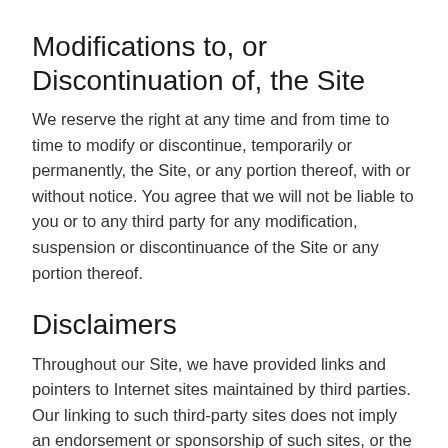Modifications to, or Discontinuation of, the Site
We reserve the right at any time and from time to time to modify or discontinue, temporarily or permanently, the Site, or any portion thereof, with or without notice. You agree that we will not be liable to you or to any third party for any modification, suspension or discontinuance of the Site or any portion thereof.
Disclaimers
Throughout our Site, we have provided links and pointers to Internet sites maintained by third parties. Our linking to such third-party sites does not imply an endorsement or sponsorship of such sites, or the information, products or services offered on or through the sites. In addition, neither we nor our parent or subsidiary companies nor any of our respective affiliates operate or control in any respect any information, products or services that third parties may